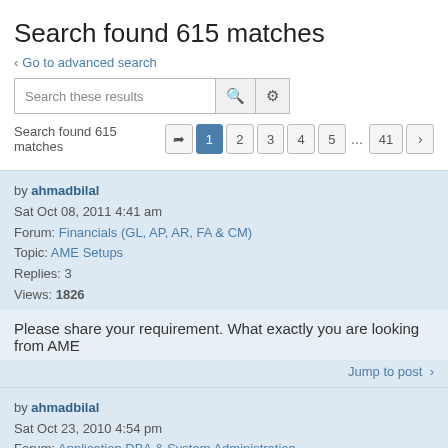Search found 615 matches
< Go to advanced search
Search these results
Search found 615 matches   1 2 3 4 5 … 41 >
by ahmadbilal
Sat Oct 08, 2011 4:41 am
Forum: Financials (GL, AP, AR, FA & CM)
Topic: AME Setups
Replies: 3
Views: 1826
Please share your requirement. What exactly you are looking from AME
Jump to post >
by ahmadbilal
Sat Oct 23, 2010 4:54 pm
Forum: Application DBA & System Administration
Topic: arabic language comming in oracle report as Questi
Replies: 4
Views: 3135